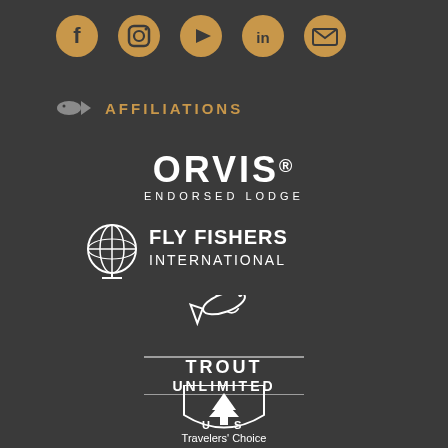[Figure (logo): Social media icons row: Facebook, Instagram, YouTube, LinkedIn, Email - in golden/tan color]
AFFILIATIONS
[Figure (logo): ORVIS ENDORSED LODGE logo in white text]
[Figure (logo): FLY FISHERS INTERNATIONAL logo with globe icon in white]
[Figure (logo): TROUT UNLIMITED logo with jumping trout illustration in white]
[Figure (logo): US Forest Service shield logo in white]
[Figure (logo): Travelers Choice award logo partially visible at bottom]